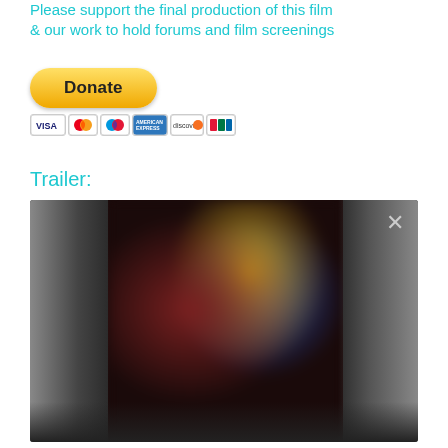Please support the final production of this film & our work to hold forums and film screenings
[Figure (other): PayPal Donate button with accepted credit card icons (Visa, Mastercard, Maestro, American Express, Discover, UnionPay)]
Trailer:
[Figure (screenshot): Video player showing a blurred/dark trailer thumbnail with a close (X) button in the top right corner]